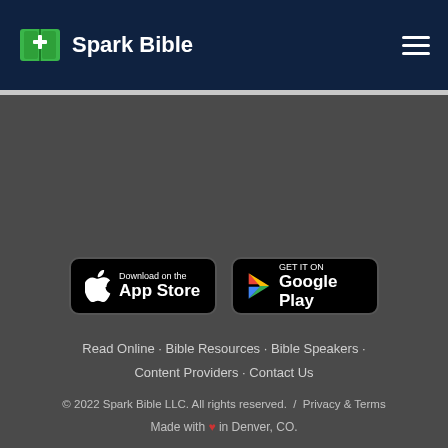Spark Bible
[Figure (logo): Spark Bible logo with green book icon and white cross, white text 'Spark Bible' on dark navy background, with hamburger menu icon on the right]
[Figure (screenshot): App store download buttons: 'Download on the App Store' (Apple) and 'GET IT ON Google Play' (Google)]
Read Online · Bible Resources · Bible Speakers · Content Providers · Contact Us
© 2022 Spark Bible LLC. All rights reserved.  /  Privacy & Terms
Made with ♥ in Denver, CO.